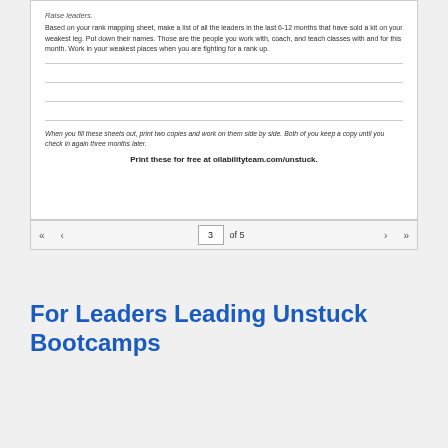Raise leaders.
Based on your rank mapping sheet, make a list of all the leaders in the last 6-12 months that have sold a kit on your weakest leg. Put down their names. Those are the people you work with, coach, and teach classes with and for this month. Work in your weakest places when you are fighting for a rank up.
When you fill these sheets out, print two copies and work on them side by side. Both of you keep a copy until you check in again three months later.
Print these for free at oilabilityteam.com/unstuck.
3 of 5
For Leaders Leading Unstuck Bootcamps